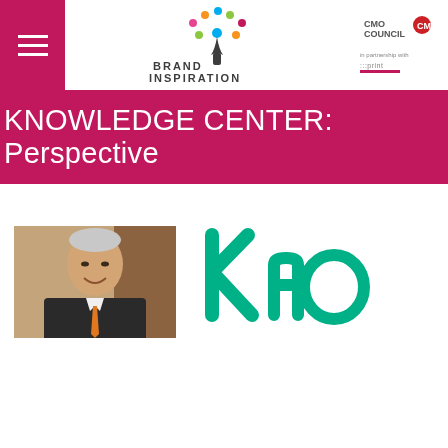Brand Inspiration Center | CMO Council | in partnership with print
KNOWLEDGE CENTER: Perspective
[Figure (photo): Portrait photo of an Asian man in a dark suit with an orange tie, smiling, against a brown background]
[Figure (logo): Kao Corporation logo in green lowercase letters: 'Kao']